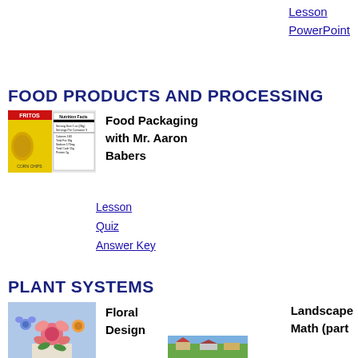Lesson PowerPoint (link at top right)
FOOD PRODUCTS AND PROCESSING
[Figure (photo): Photo of cereal box (Fritos?) next to a nutrition facts label]
Food Packaging with Mr. Aaron Babers
Lesson
Quiz
Answer Key
PLANT SYSTEMS
[Figure (photo): Photo of colorful floral arrangement]
Floral Design
Landscape Math (part
[Figure (photo): Thumbnail of landscape photo]